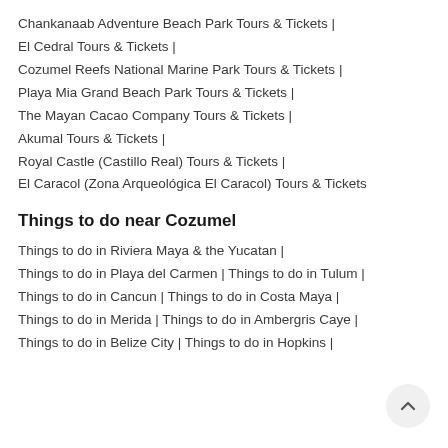Chankanaab Adventure Beach Park Tours & Tickets |
El Cedral Tours & Tickets |
Cozumel Reefs National Marine Park Tours & Tickets |
Playa Mia Grand Beach Park Tours & Tickets |
The Mayan Cacao Company Tours & Tickets |
Akumal Tours & Tickets |
Royal Castle (Castillo Real) Tours & Tickets |
El Caracol (Zona Arqueológica El Caracol) Tours & Tickets
Things to do near Cozumel
Things to do in Riviera Maya & the Yucatan |
Things to do in Playa del Carmen | Things to do in Tulum |
Things to do in Cancun | Things to do in Costa Maya |
Things to do in Merida | Things to do in Ambergris Caye |
Things to do in Belize City | Things to do in Hopkins |